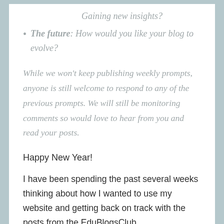Gaining new insights?
The future: How would you like your blog to evolve?
While we won't keep publishing weekly prompts, anyone is still welcome to respond to any of the previous prompts. We will still be monitoring comments so would love to hear from you and read your posts.
Happy New Year!
I have been spending the past several weeks thinking about how I wanted to use my website and getting back on track with the posts from the EduBlogsClub